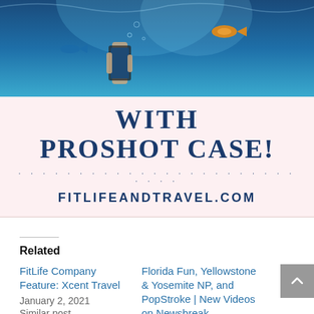[Figure (photo): Underwater photo showing a hand holding a smartphone in blue water with fish visible]
[Figure (infographic): Promotional banner with text 'WITH PROSHOT CASE!' and 'FITLIFEANDTRAVEL.COM' on pink background with dotted divider]
Related
FitLife Company Feature: Xcent Travel
January 2, 2021
Similar post
Florida Fun, Yellowstone & Yosemite NP, and PopStroke | New Videos on Newsbreak
June 28, 2022